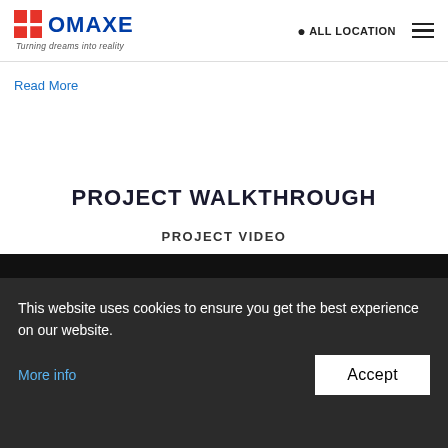OMAXE — Turning dreams into reality | ALL LOCATION | Menu
Read More
PROJECT WALKTHROUGH
PROJECT VIDEO
[Figure (screenshot): YouTube video thumbnail strip showing Omaxe logo avatar and title: Omaxe-The Palace | Lucknow | 3B...]
This website uses cookies to ensure you get the best experience on our website.
More info
Accept